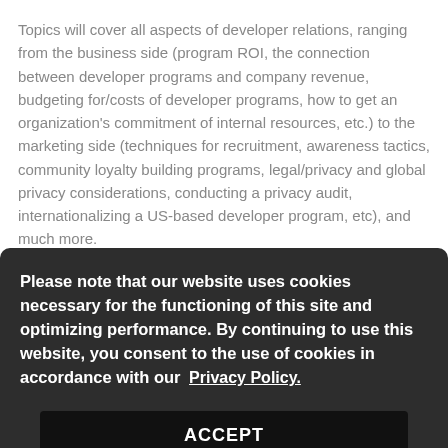Topics will cover all aspects of developer relations, ranging from the business side (program ROI, the connection between developer programs and company revenue, budgeting for/costs of developer programs, how to get an organization's commitment of internal resources, etc.) to the marketing side (techniques for recruitment, awareness tactics, community loyalty building programs, legal/privacy and global privacy considerations, conducting a privacy audit, internationalizing a US-based developer program, etc), and much more.
Please note that our website uses cookies necessary for the functioning of this site and optimizing performance. By continuing to use this website, you consent to the use of cookies in accordance with our Privacy Policy.
ACCEPT
Register Today!